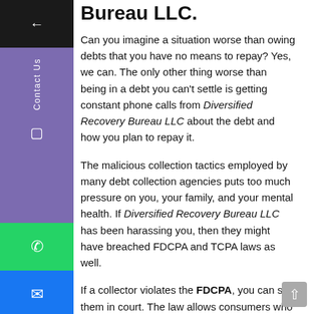Bureau LLC.
Can you imagine a situation worse than owing debts that you have no means to repay? Yes, we can. The only other thing worse than being in a debt you can't settle is getting constant phone calls from Diversified Recovery Bureau LLC about the debt and how you plan to repay it.
The malicious collection tactics employed by many debt collection agencies puts too much pressure on you, your family, and your mental health. If Diversified Recovery Bureau LLC has been harassing you, then they might have breached FDCPA and TCPA laws as well.
If a collector violates the FDCPA, you can sue them in court. The law allows consumers who have been victims of harassment from debt collectors to get the calls to stop in addition to recover statutory damages of up to